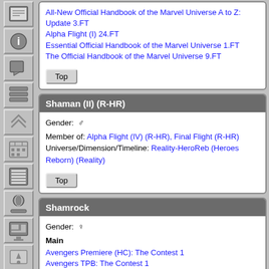All-New Official Handbook of the Marvel Universe A to Z: Update 3.FT
Alpha Flight (I) 24.FT
Essential Official Handbook of the Marvel Universe 1.FT
The Official Handbook of the Marvel Universe 9.FT
Shaman (II) (R-HR)
Gender: ♂
Member of: Alpha Flight (IV) (R-HR), Final Flight (R-HR)
Universe/Dimension/Timeline: Reality-HeroReb (Heroes Reborn) (Reality)
Shamrock
Gender: ♀
Main
Avengers Premiere (HC): The Contest 1
Avengers TPB: The Contest 1
Contest of Champions • Marvel Super Hero Contest of Champions 3
Girl Comics (II) 2
Girl Comics (HC) 1